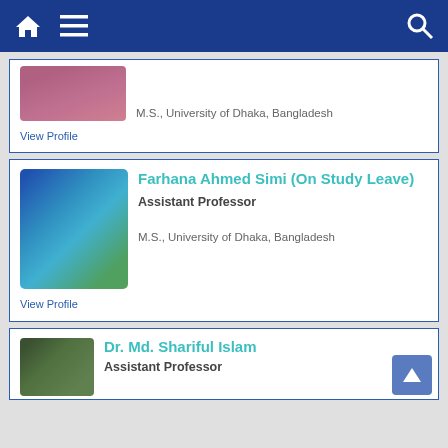Navigation bar with home, menu, and search icons
M.S., University of Dhaka, Bangladesh
View Profile
Farhana Ahmed Simi (On Study Leave)
Assistant Professor
M.S., University of Dhaka, Bangladesh
View Profile
Dr. Md. Shariful Islam
Assistant Professor